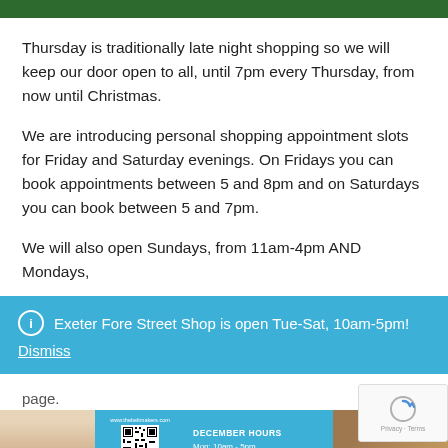Thursday is traditionally late night shopping so we will keep our door open to all, until 7pm every Thursday, from now until Christmas.
We are introducing personal shopping appointment slots for Friday and Saturday evenings. On Fridays you can book appointments between 5 and 8pm and on Saturdays you can book between 5 and 7pm.
We will also open Sundays, from 11am-4pm AND Mondays,
ℹ Exeter Fore Street Shop is open Tue-Sat, 10am-5pm!
Dismiss
page.
[Figure (infographic): December Hours infographic with a person photo, QR code, and shop hours listing: Mon: 10am - 5pm]